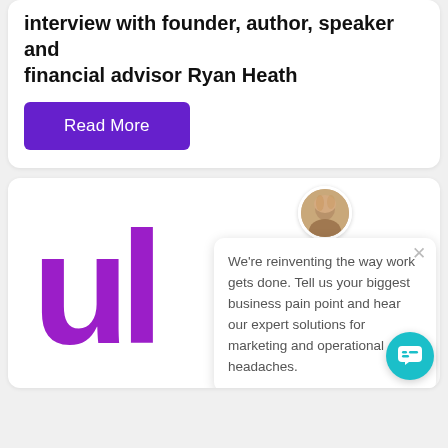interview with founder, author, speaker and financial advisor Ryan Heath
Read More
[Figure (screenshot): A card section showing a purple logo with letters 'ul' and a chat popup widget. The popup has a circular avatar photo of a blonde woman, a close (X) button, and text: 'We're reinventing the way work gets done. Tell us your biggest business pain point and hear our expert solutions for marketing and operational headaches.' A teal circular chat button appears at the bottom right.]